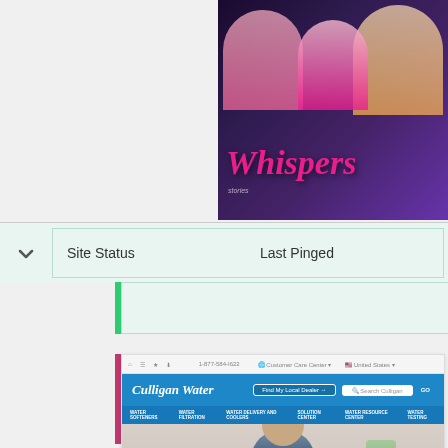[Figure (screenshot): Whispers game promotional image with colorful characters and the word Whispers in pink stylized text]
| Site Status | Last Pinged |
| --- | --- |
|   |   |
[Figure (screenshot): Screenshot of Culligan Water website showing the homepage with blue navigation, a man in a navy shirt, and a Customer Care Center page]
Billing Information | Hey Culligan
https://www.culligan.com/customer-center/billing-information